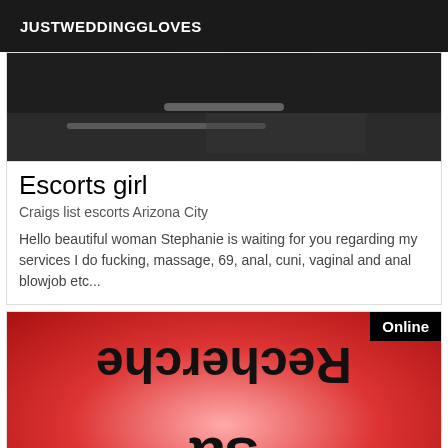JUSTWEDDINGGLOVES
[Figure (photo): Dark photo of what appears to be a black surface with a metallic handle, shown in grayscale/dark tones]
Escorts girl
Craigs list escorts Arizona City
Hello beautiful woman Stephanie is waiting for you regarding my services I do fucking, massage, 69, anal, cuni, vaginal and anal blowjob etc...
[Figure (photo): Red gradient background with mirrored/flipped decorative script text reading 'Recherche' and 'sa' in a cursive font, with an 'Online' badge in the top right corner]